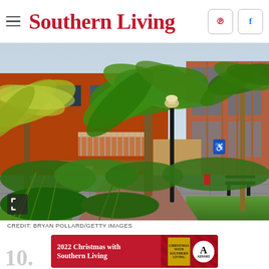Southern Living
[Figure (photo): Exterior of a red brick building with palm trees in the foreground, green landscaping, a lamp post, and a paved walkway. A bench is visible on the right side.]
CREDIT: BRYAN POLLARD/GETTY IMAGES
[Figure (infographic): Advertisement banner for '2022 Christmas with Southern Living' book published by Abrams, with red background and book cover image.]